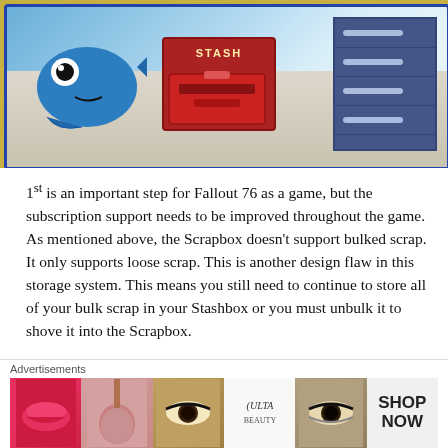[Figure (screenshot): Game screenshot showing a cartoon blue fish/whale character on the left, a red 'STASH' box in the center, and a purple drawer unit on the right, on a light wood floor background.]
1st is an important step for Fallout 76 as a game, but the subscription support needs to be improved throughout the game. As mentioned above, the Scrapbox doesn't support bulked scrap. It only supports loose scrap. This is another design flaw in this storage system. This means you still need to continue to store all of your bulk scrap in your Stashbox or you must unbulk it to shove it into the Scrapbox.
1st isn't in any way perfect, but the game is much better
[Figure (screenshot): Advertisement banner for ULTA beauty products showing close-up images of lips, makeup brush, eye with makeup, ULTA logo, another eye, and a 'SHOP NOW' button.]